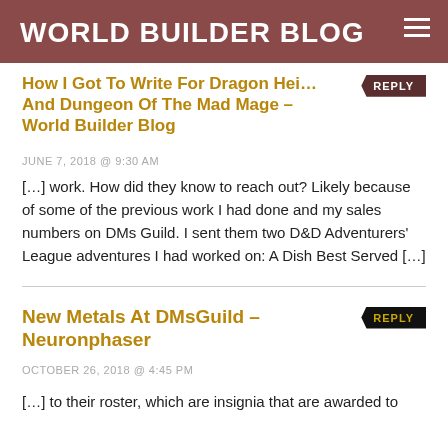WORLD BUILDER BLOG
How I Got To Write For Dragon Heist And Dungeon Of The Mad Mage – World Builder Blog
JUNE 7, 2018 @ 9:30 AM
[…] work. How did they know to reach out? Likely because of some of the previous work I had done and my sales numbers on DMs Guild. I sent them two D&D Adventurers' League adventures I had worked on: A Dish Best Served […]
New Metals At DMsGuild – Neuronphaser
OCTOBER 26, 2018 @ 4:45 PM
[…] to their roster, which are insignia that are awarded to